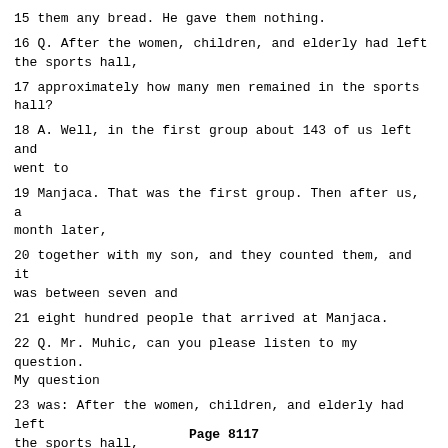15 them any bread. He gave them nothing.
16 Q. After the women, children, and elderly had left the sports hall,
17 approximately how many men remained in the sports hall?
18 A. Well, in the first group about 143 of us left and went to
19 Manjaca. That was the first group. Then after us, a month later,
20 together with my son, and they counted them, and it was between seven and
21 eight hundred people that arrived at Manjaca.
22 Q. Mr. Muhic, can you please listen to my question. My question
23 was: After the women, children, and elderly had left the sports hall,
24 approximately how many men remained in the sports hall?
25 JUDGE AGIUS: In other words, we don't want to know anything about
Page 8117